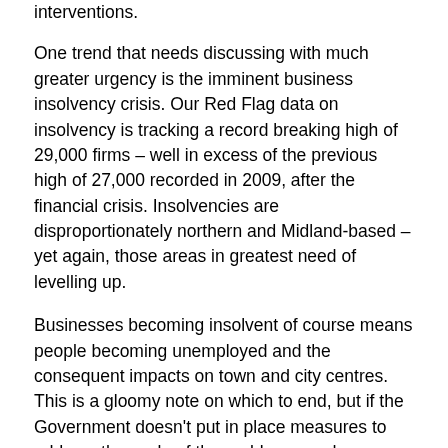interventions.
One trend that needs discussing with much greater urgency is the imminent business insolvency crisis. Our Red Flag data on insolvency is tracking a record breaking high of 29,000 firms – well in excess of the previous high of 27,000 recorded in 2009, after the financial crisis. Insolvencies are disproportionately northern and Midland-based – yet again, those areas in greatest need of levelling up.
Businesses becoming insolvent of course means people becoming unemployed and the consequent impacts on town and city centres. This is a gloomy note on which to end, but if the Government doesn't put in place measures to address the scale of the problem – and genuinely empower local areas to do likewise – the 12 missions now codified in law will not be realised.
Dr Nicola Headlam is chief economist and head of